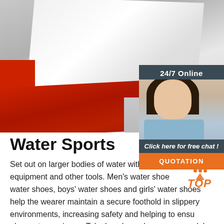[Figure (photo): Photo of a red and white inflatable tarp or water slide laid out on a gray concrete surface, viewed from a close angle]
[Figure (infographic): 24/7 Online chat widget with a woman wearing a headset, 'Click here for free chat!' text, and an orange QUOTATION button]
Water Sports
Set out on larger bodies of water with water sports equipment and other tools. Men's water shoes, women's water shoes, boys' water shoes and girls' water shoes help the wearer maintain a secure foothold in slippery environments, increasing safety and helping to ensure a pleasant experience. Take kayaks and canoes or pedal boats and inflatable rafts out on the lake or river and
[Figure (logo): Orange TOP logo with dots above the letters]